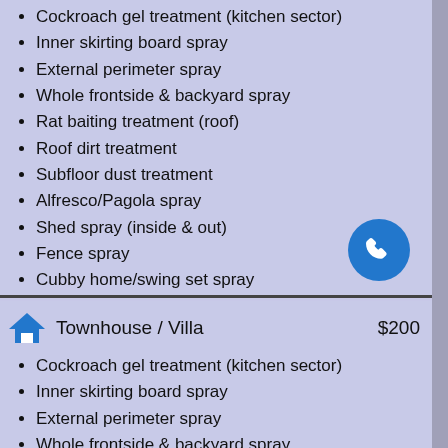Cockroach gel treatment (kitchen sector)
Inner skirting board spray
External perimeter spray
Whole frontside & backyard spray
Rat baiting treatment (roof)
Roof dirt treatment
Subfloor dust treatment
Alfresco/Pagola spray
Shed spray (inside & out)
Fence spray
Cubby home/swing set spray
Townhouse / Villa  $200
Cockroach gel treatment (kitchen sector)
Inner skirting board spray
External perimeter spray
Whole frontside & backyard spray